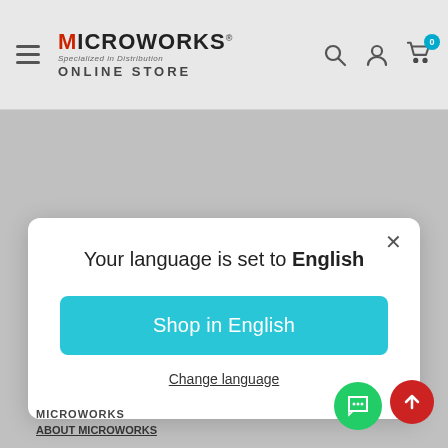[Figure (screenshot): Microworks Online Store website header with hamburger menu, logo, and icons for search, account, and cart with badge showing 0]
Your language is set to English
Shop in English
Change language
MICROWORKS
ABOUT MICROWORKS